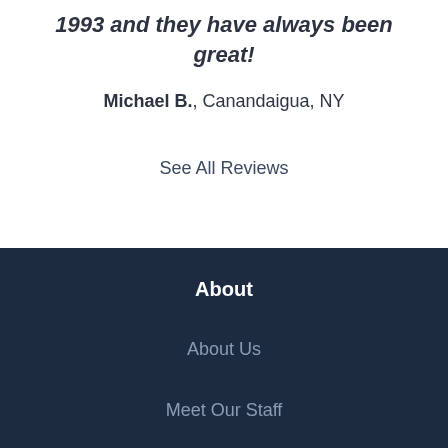1993 and they have always been great!
Michael B., Canandaigua, NY
See All Reviews
About
About Us
Meet Our Staff